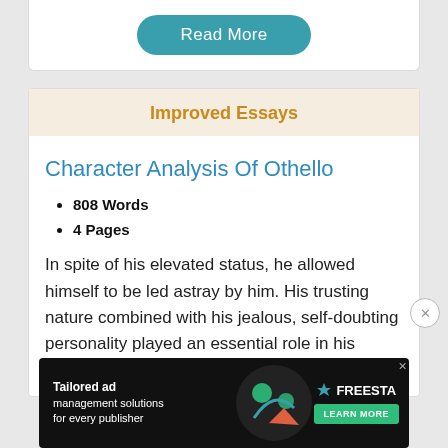[Figure (other): Read More button (teal/rounded)]
Improved Essays
Character Analysis Of Othello
808 Words
4 Pages
In spite of his elevated status, he allowed himself to be led astray by him. His trusting nature combined with his jealous, self-doubting personality played an essential role in his downfall. As a matter of fact, his
[Figure (screenshot): Advertisement banner for Freestar ad management solutions]